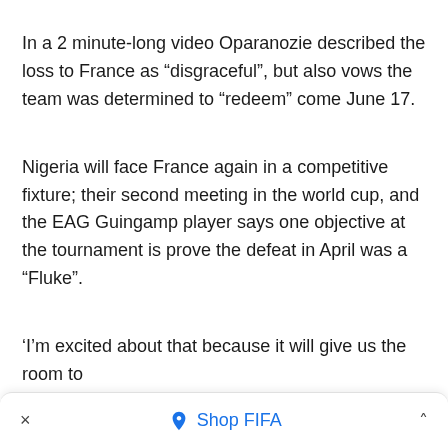In a 2 minute-long video Oparanozie described the loss to France as “disgraceful”, but also vows the team was determined to “redeem” come June 17.
Nigeria will face France again in a competitive fixture; their second meeting in the world cup, and the EAG Guingamp player says one objective at the tournament is prove the defeat in April was a “Fluke”.
‘I’m excited about that because it will give us the room to
×  Shop FIFA  ˄